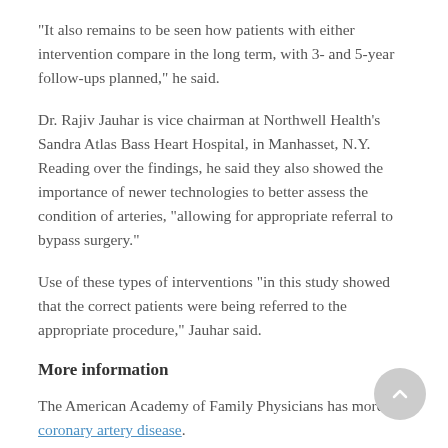"It also remains to be seen how patients with either intervention compare in the long term, with 3- and 5-year follow-ups planned," he said.
Dr. Rajiv Jauhar is vice chairman at Northwell Health's Sandra Atlas Bass Heart Hospital, in Manhasset, N.Y. Reading over the findings, he said they also showed the importance of newer technologies to better assess the condition of arteries, "allowing for appropriate referral to bypass surgery."
Use of these types of interventions "in this study showed that the correct patients were being referred to the appropriate procedure," Jauhar said.
More information
The American Academy of Family Physicians has more on coronary artery disease.